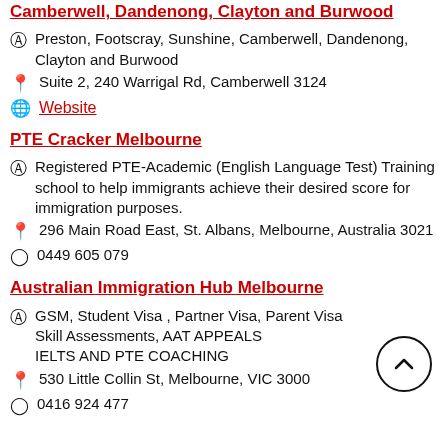Camberwell, Dandenong, Clayton and Burwood
Preston, Footscray, Sunshine, Camberwell, Dandenong, Clayton and Burwood
Suite 2, 240 Warrigal Rd, Camberwell 3124
Website
PTE Cracker Melbourne
Registered PTE-Academic (English Language Test) Training school to help immigrants achieve their desired score for immigration purposes.
296 Main Road East, St. Albans, Melbourne, Australia 3021
0449 605 079
Australian Immigration Hub Melbourne
GSM, Student Visa , Partner Visa, Parent Visa Skill Assessments, AAT APPEALS IELTS AND PTE COACHING
530 Little Collin St, Melbourne, VIC 3000
0416 924 477